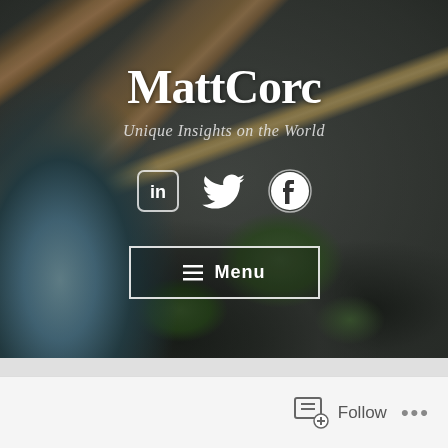[Figure (screenshot): Website hero banner showing MattCorc blog header over a nature background photo of mossy rocks, fallen logs, and a waterfall/stream. Includes site title, tagline, social media icons (LinkedIn, Twitter, Facebook), and a Menu button.]
MattCorc
Unique Insights on the World
Follow ...